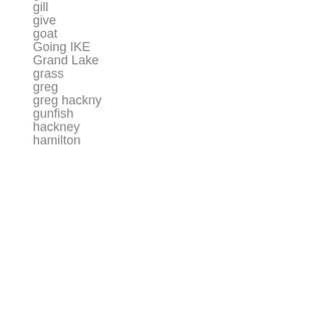giant
gill
give
goat
Going IKE
Grand Lake
grass
greg
greg hackny
gunfish
hackney
hamilton
Hard Clu...